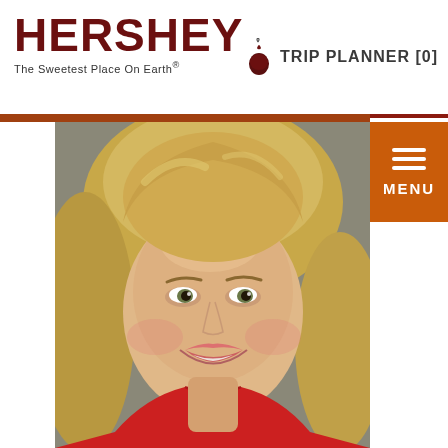HERSHEY The Sweetest Place On Earth® | TRIP PLANNER [0]
[Figure (photo): Smiling blonde woman wearing a red top, headshot/portrait photo against a gray background]
MENU